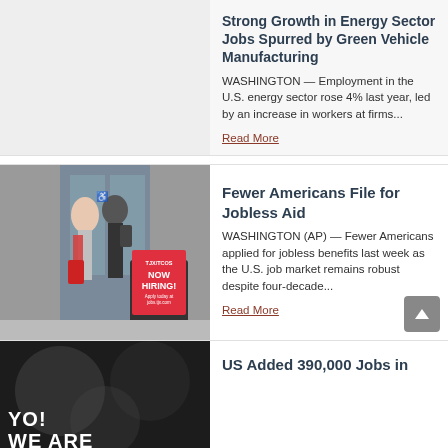Strong Growth in Energy Sector Jobs Spurred by Green Vehicle Manufacturing
WASHINGTON — Employment in the U.S. energy sector rose 4% last year, led by an increase in workers at firms...
Read More
[Figure (photo): People walking into a store with a red 'Now Hiring!' sign on a sandwich board outside]
Fewer Americans File for Jobless Aid
WASHINGTON (AP) — Fewer Americans applied for jobless benefits last week as the U.S. job market remains robust despite four-decade...
Read More
[Figure (photo): Dark background with white graffiti text reading 'YO! WE ARE']
US Added 390,000 Jobs in